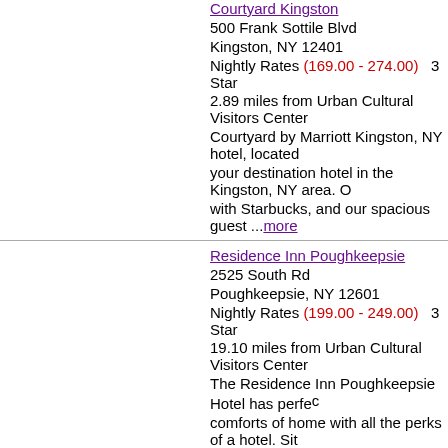Courtyard Kingston
500 Frank Sottile Blvd
Kingston, NY 12401
Nightly Rates (169.00 - 274.00) 3 Star
2.89 miles from Urban Cultural Visitors Center
Courtyard by Marriott Kingston, NY hotel, located your destination hotel in the Kingston, NY area. O with Starbucks, and our spacious guest ...more
Residence Inn Poughkeepsie
2525 South Rd
Poughkeepsie, NY 12601
Nightly Rates (199.00 - 249.00) 3 Star
19.10 miles from Urban Cultural Visitors Center
The Residence Inn Poughkeepsie Hotel has perfe comforts of home with all the perks of a hotel. Sit The Culinary Institute of America and Marist...more
The Red Hook Country Inn
7460 S Broadway
Red Hook, NY 12571
Nightly Rates (199.00 - 289.00) 4 Star
8.19 miles from Urban Cultural Visitors Center
Stately 1842 Federal Colonial lcated minutes from Olana, Montgomery Pl, Clermont, Springwood, W Millbrook Wineries. Omega 15 min. Outdoor...more
St. Charles Hotel
16 -18 park place
Hudson, NY 12534